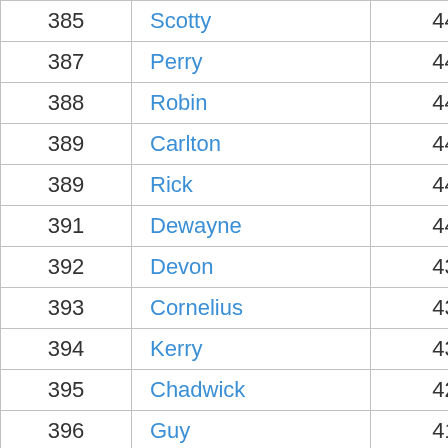| 385 | Scotty | 445 |
| 387 | Perry | 444 |
| 388 | Robin | 443 |
| 389 | Carlton | 442 |
| 389 | Rick | 442 |
| 391 | Dewayne | 441 |
| 392 | Devon | 439 |
| 393 | Cornelius | 438 |
| 394 | Kerry | 431 |
| 395 | Chadwick | 426 |
| 396 | Guy | 418 |